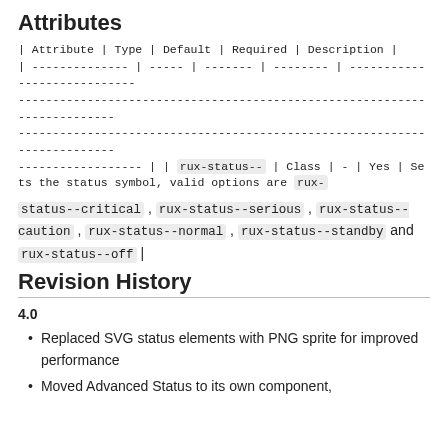Attributes
| Attribute | Type | Default | Required | Description |
| --- | --- | --- | --- | --- |
| rux-status-- | Class | - | Yes | Sets the status symbol, valid options are rux-status--critical, rux-status--serious, rux-status--caution, rux-status--normal, rux-status--standby and rux-status--off |
Revision History
4.0
Replaced SVG status elements with PNG sprite for improved performance
Moved Advanced Status to its own component,